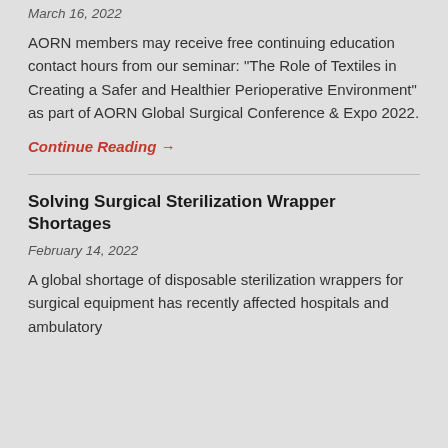March 16, 2022
AORN members may receive free continuing education contact hours from our seminar: "The Role of Textiles in Creating a Safer and Healthier Perioperative Environment" as part of AORN Global Surgical Conference & Expo 2022.
Continue Reading →
Solving Surgical Sterilization Wrapper Shortages
February 14, 2022
A global shortage of disposable sterilization wrappers for surgical equipment has recently affected hospitals and ambulatory